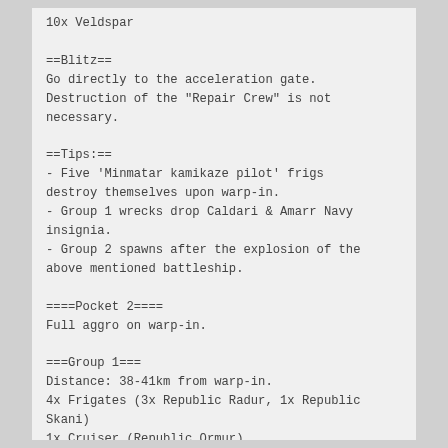10x Veldspar
==Blitz==
Go directly to the acceleration gate. Destruction of the "Repair Crew" is not necessary.
==Tips:==
- Five 'Minmatar kamikaze pilot' frigs destroy themselves upon warp-in.
- Group 1 wrecks drop Caldari & Amarr Navy insignia.
- Group 2 spawns after the explosion of the above mentioned battleship.
====Pocket 2====
Full aggro on warp-in.
===Group 1===
Distance: 38-41km from warp-in.
4x Frigates (3x Republic Radur, 1x Republic Skani)
1x Cruiser (Republic Ormur)